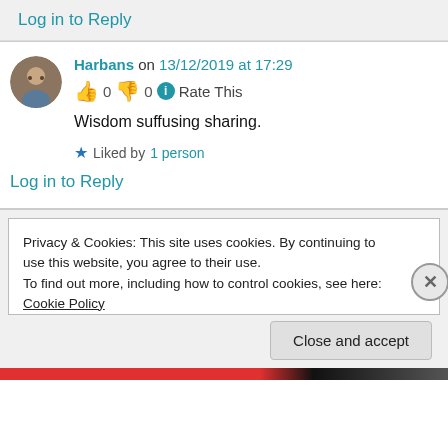Log in to Reply
Harbans on 13/12/2019 at 17:29
👍 0 👎 0 ℹ Rate This
Wisdom suffusing sharing.
★ Liked by 1 person
Log in to Reply
Privacy & Cookies: This site uses cookies. By continuing to use this website, you agree to their use.
To find out more, including how to control cookies, see here: Cookie Policy
Close and accept